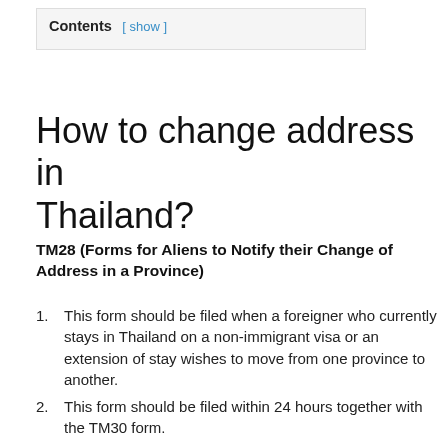Contents [ show ]
How to change address in Thailand?
TM28 (Forms for Aliens to Notify their Change of Address in a Province)
This form should be filed when a foreigner who currently stays in Thailand on a non-immigrant visa or an extension of stay wishes to move from one province to another.
This form should be filed within 24 hours together with the TM30 form.